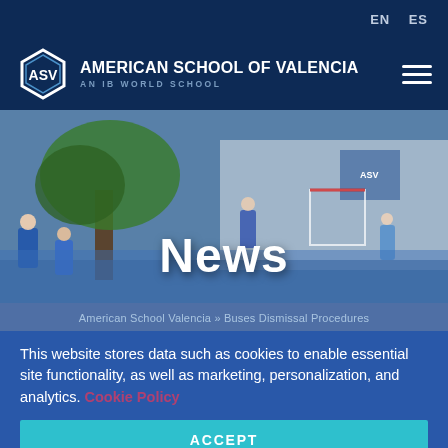EN  ES
AMERICAN SCHOOL OF VALENCIA – AN IB WORLD SCHOOL
[Figure (photo): School courtyard with students, large tree, sports goal net, and ASV building in background]
News
American School Valencia » Buses Dismissal Procedures
This website stores data such as cookies to enable essential site functionality, as well as marketing, personalization, and analytics. Cookie Policy
ACCEPT
DENY